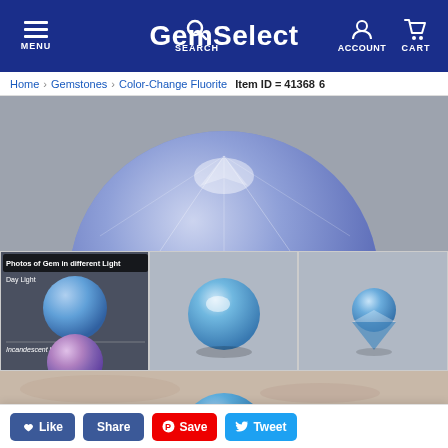GemSelect — MENU, SEARCH, ACCOUNT, CART
Home > Gemstones > Color-Change Fluorite   Item ID = 41368...
[Figure (photo): Close-up photo of a round faceted blue-purple color-change fluorite gemstone against a gray background]
[Figure (photo): Composite photo showing gem in different light: Day Light (blue) and Incandescent light (purple-pink), small thumbnails]
[Figure (photo): Photo of round faceted blue fluorite gemstone, face-up view]
[Figure (photo): Photo of round faceted blue fluorite gemstone, side/pavilion view]
[Figure (photo): Photo of color-change fluorite gemstone on a rocky surface, with GemSelect watermark overlay]
Like  Share  Save  Tweet